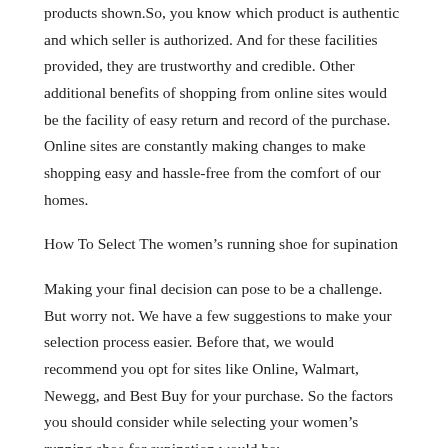products shown.So, you know which product is authentic and which seller is authorized. And for these facilities provided, they are trustworthy and credible. Other additional benefits of shopping from online sites would be the facility of easy return and record of the purchase. Online sites are constantly making changes to make shopping easy and hassle-free from the comfort of our homes.
How To Select The women’s running shoe for supination
Making your final decision can pose to be a challenge. But worry not. We have a few suggestions to make your selection process easier. Before that, we would recommend you opt for sites like Online, Walmart, Newegg, and Best Buy for your purchase. So the factors you should consider while selecting your women’s running shoe for supination would be:
Price
Hop on to any of those sites and search the options you have